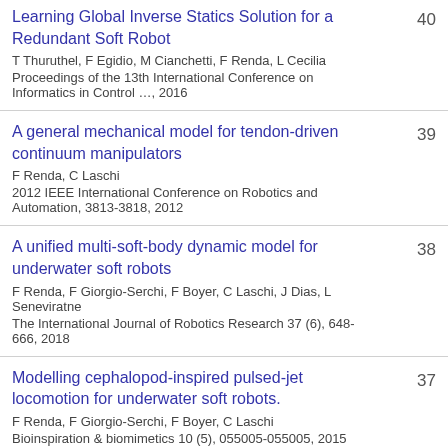Learning Global Inverse Statics Solution for a Redundant Soft Robot
T Thuruthel, F Egidio, M Cianchetti, F Renda, L Cecilia
Proceedings of the 13th International Conference on Informatics in Control …, 2016
Citations: 40
A general mechanical model for tendon-driven continuum manipulators
F Renda, C Laschi
2012 IEEE International Conference on Robotics and Automation, 3813-3818, 2012
Citations: 39
A unified multi-soft-body dynamic model for underwater soft robots
F Renda, F Giorgio-Serchi, F Boyer, C Laschi, J Dias, L Seneviratne
The International Journal of Robotics Research 37 (6), 648-666, 2018
Citations: 38
Modelling cephalopod-inspired pulsed-jet locomotion for underwater soft robots.
F Renda, F Giorgio-Serchi, F Boyer, C Laschi
Bioinspiration & biomimetics 10 (5), 055005-055005, 2015
Citations: 37
A Geometric Variable Strain Approach for Static...
Citations: 35